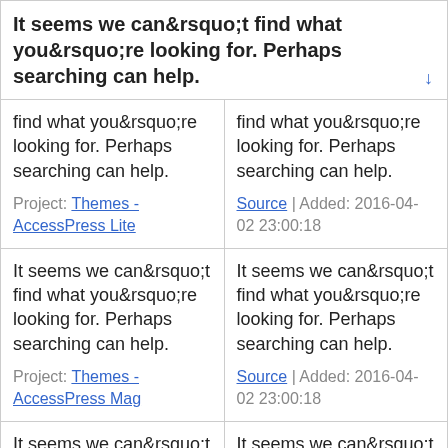It seems we can&rsquo;t find what you&rsquo;re looking for. Perhaps searching can help.
| find what you&rsquo;re looking for. Perhaps searching can help.

Project: Themes - AccessPress Lite | find what you&rsquo;re looking for. Perhaps searching can help.

Source | Added: 2016-04-02 23:00:18 |
| It seems we can&rsquo;t find what you&rsquo;re looking for. Perhaps searching can help.

Project: Themes - AccessPress Mag | It seems we can&rsquo;t find what you&rsquo;re looking for. Perhaps searching can help.

Source | Added: 2016-04-02 23:00:18 |
| It seems we can&rsquo;t find what you&rsquo;re looking for. Perhaps | It seems we can&rsquo;t find what you&rsquo;re looking for. Perhaps |